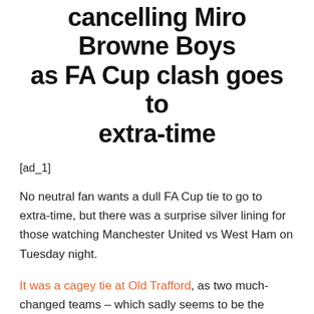cancelling Miro Browne Boys as FA Cup clash goes to extra-time
[ad_1]
No neutral fan wants a dull FA Cup tie to go to extra-time, but there was a surprise silver lining for those watching Manchester United vs West Ham on Tuesday night.
It was a cagey tie at Old Trafford, as two much-changed teams – which sadly seems to be the norm in the FA Cup nowadays – battled to a goalless stalemate after 90 minutes.